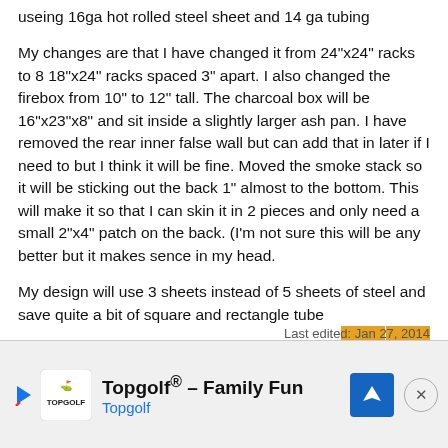useing 16ga hot rolled steel sheet and 14 ga tubing
My changes are that I have changed it from 24"x24" racks to 8 18"x24" racks spaced 3" apart. I also changed the firebox from 10" to 12" tall. The charcoal box will be 16"x23"x8" and sit inside a slightly larger ash pan. I have removed the rear inner false wall but can add that in later if I need to but I think it will be fine. Moved the smoke stack so it will be sticking out the back 1" almost to the bottom. This will make it so that I can skin it in 2 pieces and only need a small 2"x4" patch on the back. (I'm not sure this will be any better but it makes sence in my head.
My design will use 3 sheets instead of 5 sheets of steel and save quite a bit of square and rectangle tube
Last edited: Jan 27, 2014
[Figure (other): Topgolf advertisement banner with play button, Topgolf logo, 'Topgolf® - Family Fun' title, navigation map icon, and close button]